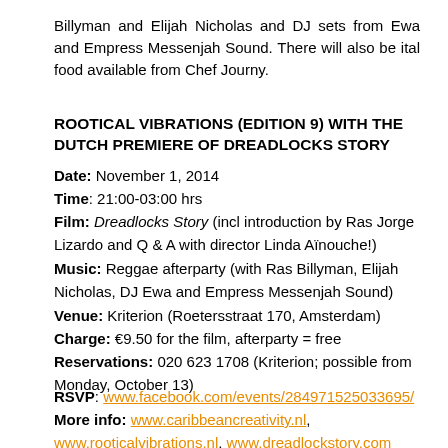Billyman and Elijah Nicholas and DJ sets from Ewa and Empress Messenjah Sound. There will also be ital food available from Chef Journy.
ROOTICAL VIBRATIONS (EDITION 9) WITH THE DUTCH PREMIERE OF DREADLOCKS STORY
Date: November 1, 2014
Time: 21:00-03:00 hrs
Film: Dreadlocks Story (incl introduction by Ras Jorge Lizardo and Q & A with director Linda Aïnouche!)
Music: Reggae afterparty (with Ras Billyman, Elijah Nicholas, DJ Ewa and Empress Messenjah Sound)
Venue: Kriterion (Roetersstraat 170, Amsterdam)
Charge: €9.50 for the film, afterparty = free
Reservations: 020 623 1708 (Kriterion; possible from Monday, October 13)
RSVP: www.facebook.com/events/284971525033695/
More info: www.caribbeancreativity.nl, www.rooticalvibrations.nl, www.dreadlockstory.com
21:00 Nyabinghi drum session | 21:45 Introduction film| 22:00 Start film | 00:00 Reggae afterparty